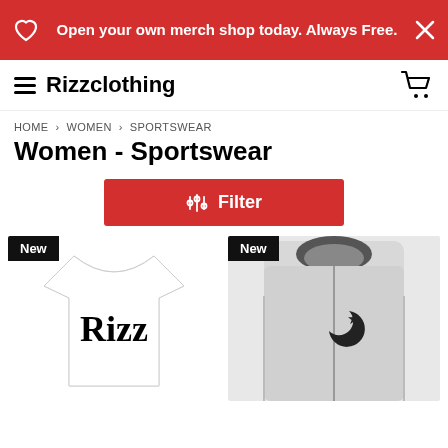Open your own merch shop today. Always Free.
Rizzclothing
HOME › WOMEN › SPORTSWEAR
Women - Sportswear
Filter
[Figure (photo): White t-shirt with 'Rizz' text, labeled New]
[Figure (photo): Gray zip-up hoodie with crescent moon and star, labeled New]